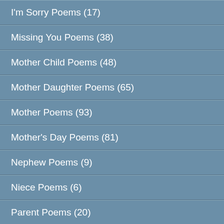I'm Sorry Poems (17)
Missing You Poems (38)
Mother Child Poems (48)
Mother Daughter Poems (65)
Mother Poems (93)
Mother's Day Poems (81)
Nephew Poems (9)
Niece Poems (6)
Parent Poems (20)
Poems about Family (34)
Pregnancy Poems (17)
Prison Poems (25)